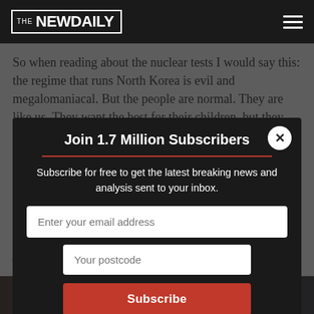THE NEW DAILY
So when reading about the nuclear tests I would say this: the regime that runs North Korea is evil and megalomaniacal. But the people are normal. They are like us. They want the best for their children, but they have been indoctrinated.
We may disagree with the leaders, but let’s also remember the people, and how hard it is for us to stay in touch with people who are just normal souls, like us.
Join 1.7 Million Subscribers
Subscribe for free to get the latest breaking news and analysis sent to your inbox.
Enter your email address
Your postcode
Subscribe
Andrew Mackor, an Australian from inside North Korea